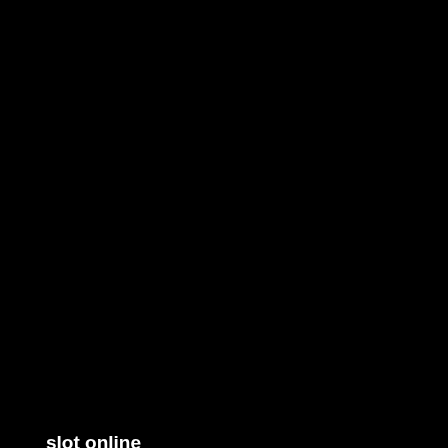tangkasnet
pragmatic play
SLOT88
Slot Bonus New Member
judi bola
Judi Online
slot online